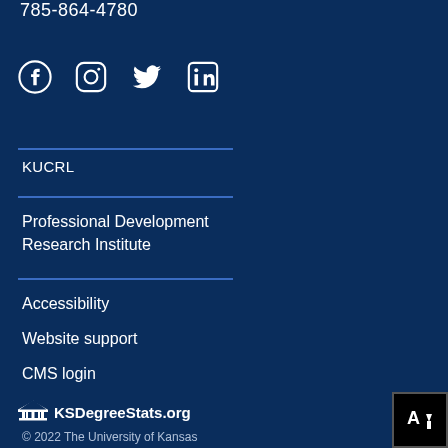785-864-4780
[Figure (infographic): Social media icons: Facebook, Instagram, Twitter, LinkedIn]
KUCRL
Professional Development Research Institute
Accessibility
Website support
CMS login
[Figure (logo): KSDegreeStats.org logo with graduation cap icon]
© 2022 The University of Kansas